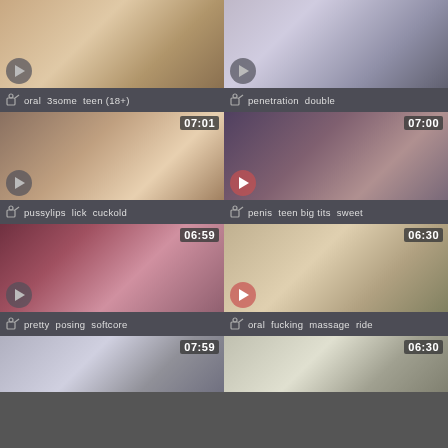[Figure (screenshot): Video thumbnail grid showing adult video thumbnails with tags and durations. Top-left: oral, 3some, teen (18+). Top-right: penetration, double. Middle-left 07:01: pussylips, lick, cuckold. Middle-right 07:00: penis, teen big tits, sweet. Lower-left 06:59: pretty, posing, softcore. Lower-right 06:30: oral, fucking, massage, ride. Bottom partial row: two more thumbnails with 07:59 and 06:30 duration badges.]